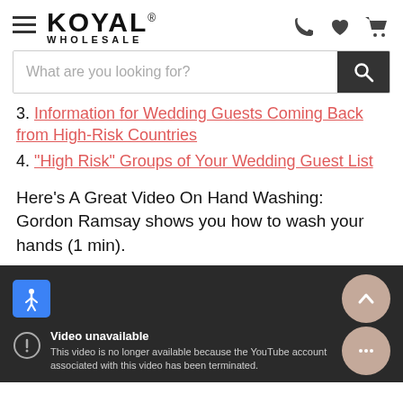[Figure (screenshot): Koyal Wholesale website header with hamburger menu icon, logo, phone icon, heart icon, and shopping cart icon]
[Figure (screenshot): Search bar with placeholder text 'What are you looking for?' and dark search button with magnifying glass icon]
3. Information for Wedding Guests Coming Back from High-Risk Countries
4. "High Risk" Groups of Your Wedding Guest List
Here's A Great Video On Hand Washing:  Gordon Ramsay shows you how to wash your hands (1 min).
[Figure (screenshot): YouTube embedded video player showing 'Video unavailable - This video is no longer available because the YouTube account associated with this video has been terminated.' message on dark background, with accessibility button, scroll-up button, and chat button overlaid]